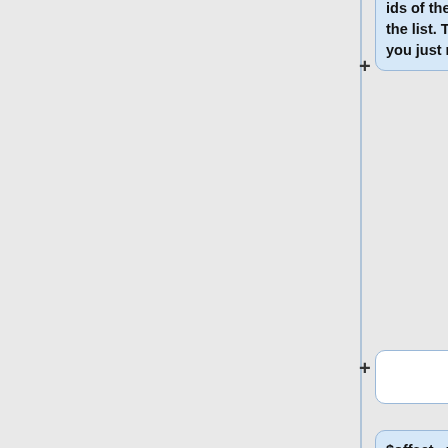ids of the specified range from the list. This is more efficient if you just need the ids.
$offset - what index through the list to start from. $count - the maximum to return.
<div style='background-color: #eef; margin: 0.5em 0em 1em 0em;